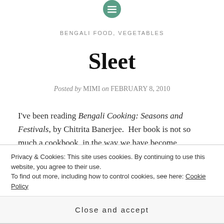[Figure (logo): Small circular teal/green icon with horizontal lines (hamburger menu icon) at the top center of the page]
BENGALI FOOD, VEGETABLES
Sleet
Posted by MIMI on FEBRUARY 8, 2010
I've been reading Bengali Cooking: Seasons and Festivals, by Chitrita Banerjee.  Her book is not so much a cookbook, in the way we have become accustomed to cookbooks, with their glossy pages and beautiful photographs, but rather is a series of essays about
Privacy & Cookies: This site uses cookies. By continuing to use this website, you agree to their use.
To find out more, including how to control cookies, see here: Cookie Policy
Close and accept
history. And both only she has photographed by